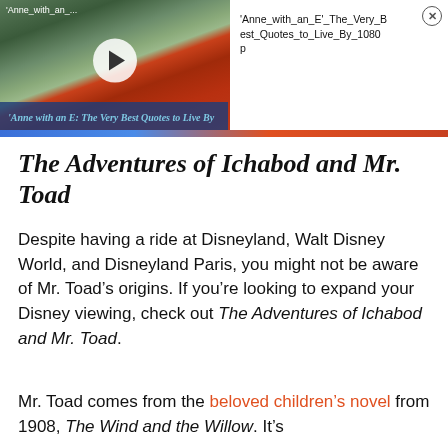[Figure (screenshot): Video thumbnail showing Anne with an E scene with play button overlay and caption bar reading 'Anne with an E: The Very Best Quotes to Live By']
'Anne_with_an_E'_The_Very_Best_Quotes_to_Live_By_1080p
The Adventures of Ichabod and Mr. Toad
Despite having a ride at Disneyland, Walt Disney World, and Disneyland Paris, you might not be aware of Mr. Toad’s origins. If you’re looking to expand your Disney viewing, check out The Adventures of Ichabod and Mr. Toad.
Mr. Toad comes from the beloved children’s novel from 1908, The Wind and the Willow. It’s